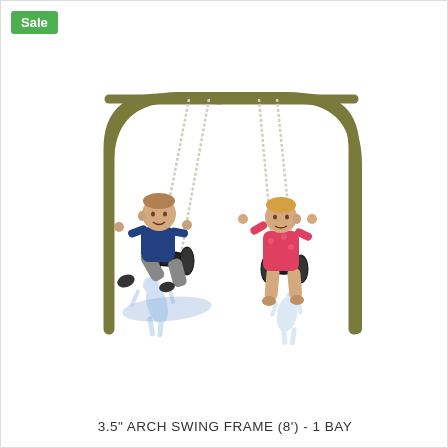[Figure (illustration): 3D rendered illustration of a playground arch swing frame with two children swinging on black tire swings. The frame is olive/dark yellow-green metal tubing with an arch top. Two children are shown: a boy in a blue shirt on the left swing and a girl in a pink top on the right swing. Blue-tinted shadows of the children are visible on the ground beneath.]
3.5" ARCH SWING FRAME (8') - 1 BAY